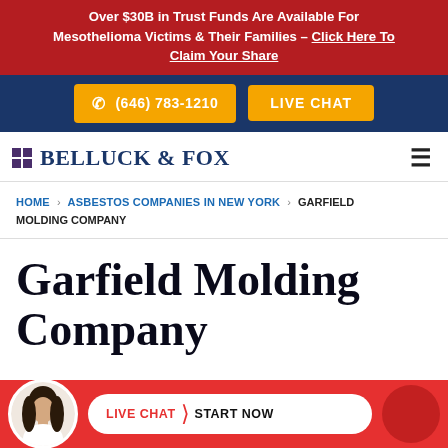Over $30B in Trust Funds Are Available For Mesothelioma Victims & Their Families – Click Here To Claim Your Share
[Figure (screenshot): Navy bar with orange phone button showing (646) 783-1210 and orange LIVE CHAT button]
[Figure (logo): Belluck & Fox law firm logo with purple grid icon and serif uppercase text]
HOME > ASBESTOS COMPANIES IN NEW YORK > GARFIELD MOLDING COMPANY
Garfield Molding Company
[Figure (infographic): Red chat bar at bottom with circular avatar of a woman, white pill-shaped button reading LIVE CHAT > START NOW]